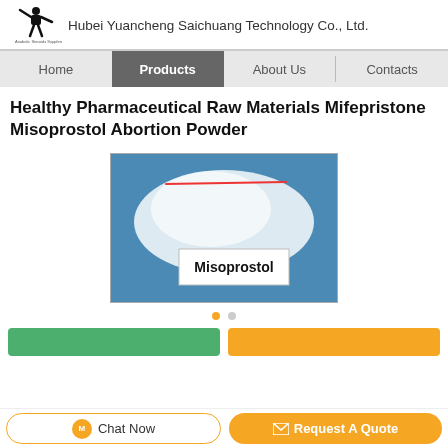Hubei Yuancheng Saichuang Technology Co., Ltd.
Home | Products | About Us | Contacts
Healthy Pharmaceutical Raw Materials Mifepristone Misoprostol Abortion Powder
[Figure (photo): Photo of white powder in a sealed plastic bag with a label reading 'Misoprostol']
Chat Now | Request A Quote